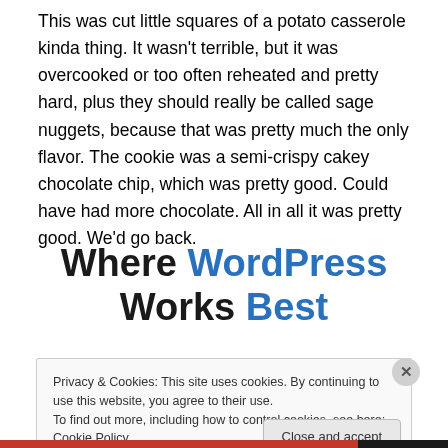This was cut little squares of a potato casserole kinda thing. It wasn't terrible, but it was overcooked or too often reheated and pretty hard, plus they should really be called sage nuggets, because that was pretty much the only flavor. The cookie was a semi-crispy cakey chocolate chip, which was pretty good. Could have had more chocolate. All in all it was pretty good. We'd go back.
Where WordPress Works Best
Privacy & Cookies: This site uses cookies. By continuing to use this website, you agree to their use. To find out more, including how to control cookies, see here: Cookie Policy